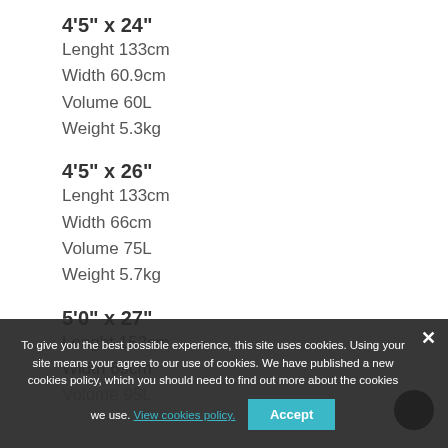4'5" x 24"
Lenght 133cm
Width 60.9cm
Volume 60L
Weight 5.3kg
4'5" x 26"
Lenght 133cm
Width 66cm
Volume 75L
Weight 5.7kg
5'0" x 27"
Lenght 152cm
Width 69cm
Volume 95L
To give you the best possible experience, this site uses cookies. Using your site means your agree to our use of cookies. We have published a new cookies policy, which you should need to find out more about the cookies we use. View cookies policy.